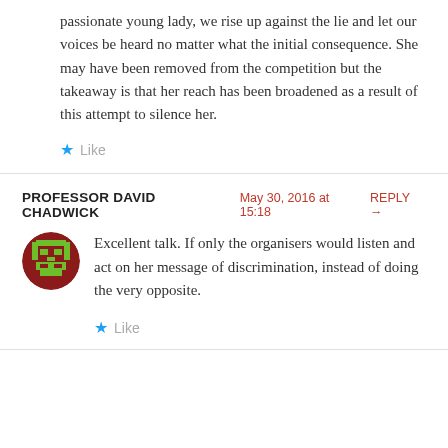passionate young lady, we rise up against the lie and let our voices be heard no matter what the initial consequence. She may have been removed from the competition but the takeaway is that her reach has been broadened as a result of this attempt to silence her.
Like
PROFESSOR DAVID CHADWICK  May 30, 2016 at 15:18  REPLY →
[Figure (illustration): Circular avatar with a pixel-art style face on a dark red background with green elements]
Excellent talk. If only the organisers would listen and act on her message of discrimination, instead of doing the very opposite.
Like